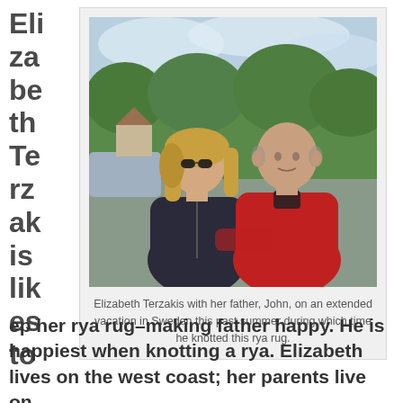Elizabeth Terzakis likes to keep her rya rug-making father happy. He is happiest when knotting a rya. Elizabeth lives on the west coast; her parents live on
[Figure (photo): Photo of Elizabeth Terzakis with her father John, outdoors, she wearing sunglasses and black jacket, he in red jacket, green trees in background.]
Elizabeth Terzakis with her father, John, on an extended vacation in Sweden this past summer during which time he knotted this rya rug.
ep her rya rug–making father happy. He is happiest when knotting a rya. Elizabeth lives on the west coast; her parents live on